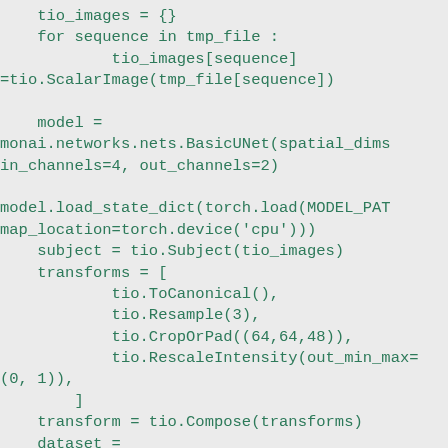tio_images = {}
    for sequence in tmp_file :
            tio_images[sequence]
=tio.ScalarImage(tmp_file[sequence])

    model =
monai.networks.nets.BasicUNet(spatial_dims
in_channels=4, out_channels=2)

model.load_state_dict(torch.load(MODEL_PAT
map_location=torch.device('cpu')))
    subject = tio.Subject(tio_images)
    transforms = [
            tio.ToCanonical(),
            tio.Resample(3),
            tio.CropOrPad((64,64,48)),
            tio.RescaleIntensity(out_min_max=
(0, 1)),
        ]
    transform = tio.Compose(transforms)
    dataset =
tio.SubjectsDataset([subject],
transform=transform)

        device = torch.device('cuda' if